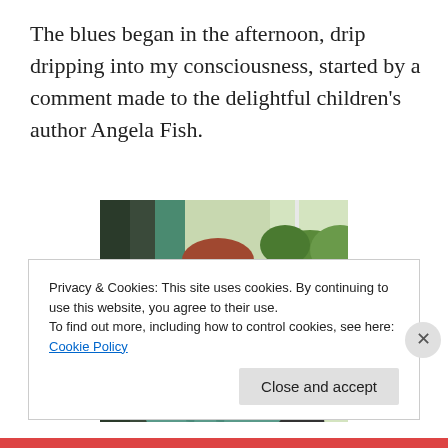The blues began in the afternoon, drip dripping into my consciousness, started by a comment made to the delightful children's author Angela Fish.
[Figure (photo): A woman with red/auburn hair wearing a teal plaid shirt, sitting at a desk near a window with a garden visible outside, holding or using a laptop.]
Privacy & Cookies: This site uses cookies. By continuing to use this website, you agree to their use.
To find out more, including how to control cookies, see here: Cookie Policy